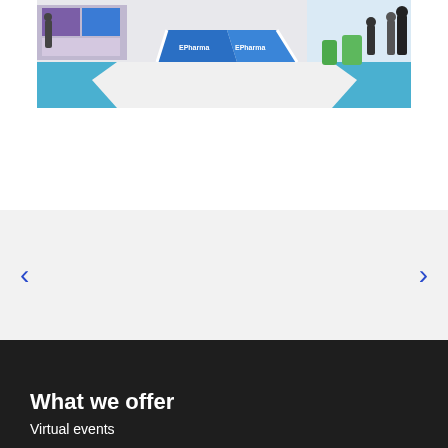[Figure (photo): Trade show / exhibition booth photo showing a blue EPharma branded hexagonal booth/counter with people in the background, blue flooring, and display screens]
[Figure (infographic): Carousel navigation section with light gray background, left arrow '<' and right arrow '>' in blue for navigating slides]
What we offer
Virtual events